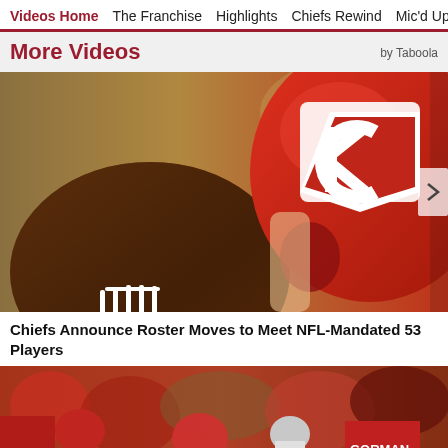Videos Home | The Franchise | Highlights | Chiefs Rewind | Mic'd Up
More Videos
by Taboola
[Figure (photo): Close-up of a Kansas City Chiefs football helmet with the KC arrowhead logo and a brown football in the foreground]
Chiefs Announce Roster Moves to Meet NFL-Mandated 53 Players
[Figure (photo): Kansas City Chiefs players and coaches on the sideline, with a player wearing a GORMAN jersey visible]